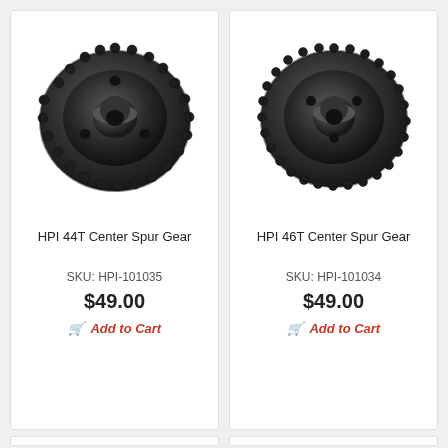[Figure (photo): HPI 44T Center Spur Gear product photo - black toothed gear with center hub and holes]
HPI 44T Center Spur Gear
SKU: HPI-101035
$49.00
Add to Cart
[Figure (photo): HPI 46T Center Spur Gear product photo - black toothed gear with center hub and holes]
HPI 46T Center Spur Gear
SKU: HPI-101034
$49.00
Add to Cart